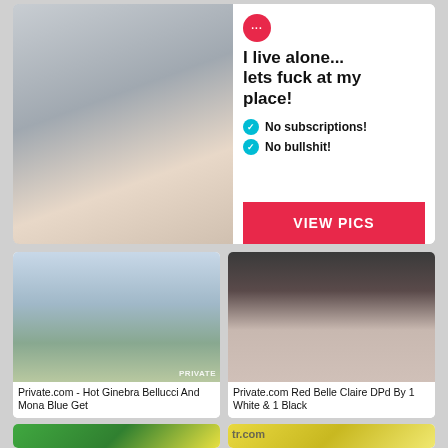[Figure (advertisement): Adult advertisement banner with photo on left and text on right reading 'I live alone... lets fuck at my place!' with checkmarks for 'No subscriptions!' and 'No bullshit!' and a red VIEW PICS button]
[Figure (photo): Thumbnail image with city skyline in background, labeled 'Private.com - Hot Ginebra Bellucci And Mona Blue Get']
[Figure (photo): Thumbnail image of adult content, labeled 'Private.com Red Belle Claire DPd By 1 White & 1 Black']
[Figure (photo): Partial thumbnail at bottom left, green tones]
[Figure (photo): Partial thumbnail at bottom right with 'tr.com' overlay text]